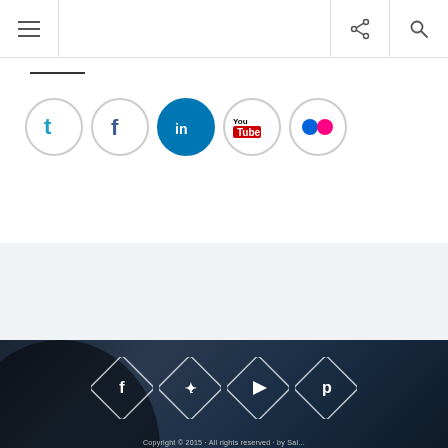Navigation bar with hamburger menu, share icon, and search icon
[Figure (infographic): Row of five social media icons in circles: Twitter (teal bird), Facebook (blue f), LinkedIn (blue in), YouTube (red/white), Flickr (blue/pink dots)]
[Figure (infographic): Dark background footer section with four diamond-shaped social media icons: Facebook, Twitter, YouTube, Pinterest. Background shows blurred musicians/orchestra scene.]
Copyright © 2015 · All rights reserved · by Sal...